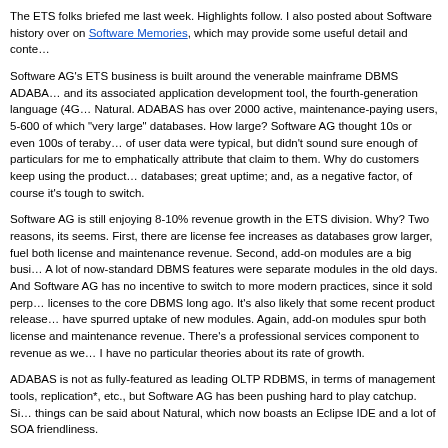The ETS folks briefed me last week. Highlights follow. I also posted about Software history over on Software Memories, which may provide some useful detail and conte…
Software AG's ETS business is built around the venerable mainframe DBMS ADABA… and its associated application development tool, the fourth-generation language (4G… Natural. ADABAS has over 2000 active, maintenance-paying users, 5-600 of which "very large" databases. How large? Software AG thought 10s or even 100s of teraby… of user data were typical, but didn't sound sure enough of particulars for me to emphatically attribute that claim to them. Why do customers keep using the product… databases; great uptime; and, as a negative factor, of course it's tough to switch.
Software AG is still enjoying 8-10% revenue growth in the ETS division. Why? Two reasons, its seems. First, there are license fee increases as databases grow larger, fuel both license and maintenance revenue. Second, add-on modules are a big busi… A lot of now-standard DBMS features were separate modules in the old days. And Software AG has no incentive to switch to more modern practices, since it sold perp… licenses to the core DBMS long ago. It's also likely that some recent product release… have spurred uptake of new modules. Again, add-on modules spur both license and maintenance revenue. There's a professional services component to revenue as we… I have no particular theories about its rate of growth.
ADABAS is not as fully-featured as leading OLTP RDBMS, in terms of management tools, replication*, etc., but Software AG has been pushing hard to play catchup. Si… things can be said about Natural, which now boasts an Eclipse IDE and a lot of SOA friendliness.
*Actually, Software AG had a deal with Magnuson to bring out replication-based high…